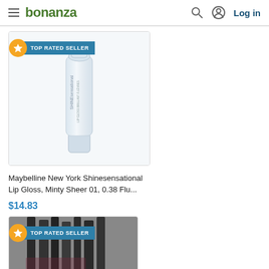bonanza — Log in
[Figure (photo): Maybelline Shinesensational lip gloss tube product photo with TOP RATED SELLER badge]
Maybelline New York Shinesensational Lip Gloss, Minty Sheer 01, 0.38 Flu...
$14.83
[Figure (photo): Multiple lip gloss/mascara products photo with TOP RATED SELLER badge, partially visible]